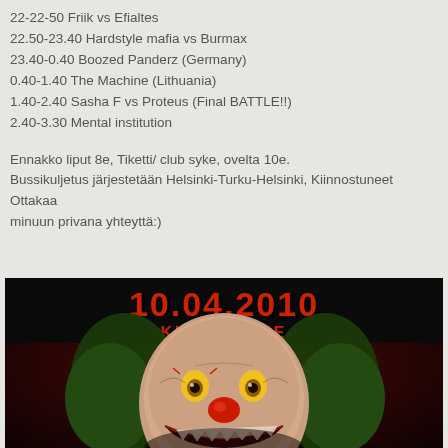22-22-50 Friik vs Efialtes
22.50-23.40 Hardstyle mafia vs Burmax
23.40-0.40 Boozed Panderz (Germany)
0.40-1.40 The Machine (Lithuania)
1.40-2.40 Sasha F vs Proteus (Final BATTLE!!)
2.40-3.30 Mental institution
Ennakko liput 8e, Tiketti/ club syke, ovelta 10e. Bussikuljetus järjestetään Helsinki-Turku-Helsinki, Kiinnostuneet Ottakaa minuun privana yhteyttä:)
[Figure (photo): Event poster for 10.04.2010 -KLUBI SYKE- featuring a sinister clown face on a dark red background]